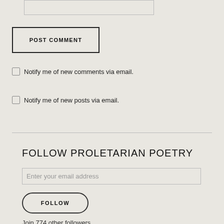[Figure (other): Partial text input/textarea box at top of page]
POST COMMENT
Notify me of new comments via email.
Notify me of new posts via email.
FOLLOW PROLETARIAN POETRY
Enter your email address
FOLLOW
Join 774 other followers